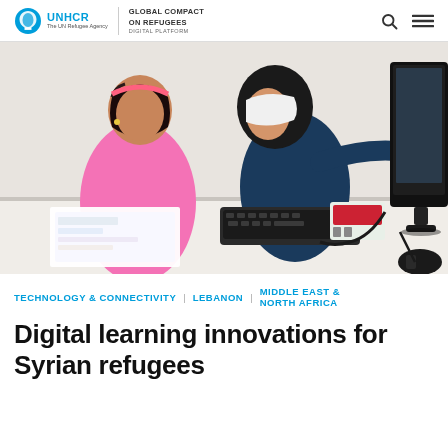UNHCR | GLOBAL COMPACT ON REFUGEES DIGITAL PLATFORM
[Figure (photo): Two girls at a computer desk: a younger girl in a pink top and an older girl in a dark hijab pointing at a computer monitor. A keyboard, Raspberry Pi device, and papers are on the desk.]
TECHNOLOGY & CONNECTIVITY | LEBANON | MIDDLE EAST & NORTH AFRICA
Digital learning innovations for Syrian refugees